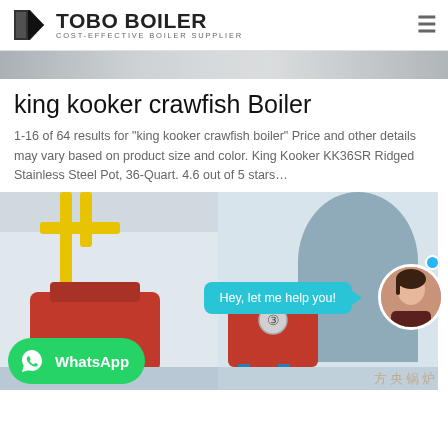TOBO BOILER COST-EFFECTIVE BOILER SUPPLIER
[Figure (photo): Top banner showing industrial surface in grey tones]
king kooker crawfish Boiler
1-16 of 64 results for "king kooker crawfish boiler" Price and other details may vary based on product size and color. King Kooker KK36SR Ridged Stainless Steel Pot, 36-Quart. 4.6 out of 5 stars…
[Figure (photo): Industrial boiler facility photos with red boilers and yellow pipes; WhatsApp button overlay; chat bubble saying 'Hey, let me help you!'; female avatar; Chinese watermark text]